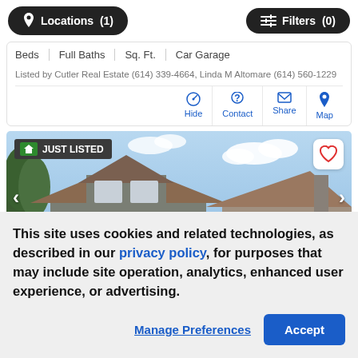Locations (1)  Filters (0)
| Beds | Full Baths | Sq. Ft. | Car Garage |
| --- | --- | --- | --- |
Listed by Cutler Real Estate (614) 339-4664, Linda M Altomare (614) 560-1229
Hide  Contact  Share  Map
[Figure (photo): Exterior photo of a two-story house with gray siding and brown roof under a partly cloudy sky. A 'JUST LISTED' badge appears in the top left corner.]
This site uses cookies and related technologies, as described in our privacy policy, for purposes that may include site operation, analytics, enhanced user experience, or advertising.
Manage Preferences  Accept